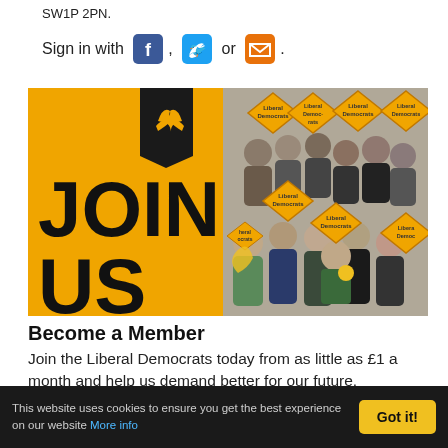SW1P 2PN.
Sign in with [Facebook icon] , [Twitter icon] or [Email icon].
[Figure (photo): Liberal Democrats JOIN US promotional banner. Left side is orange with the Liberal Democrats bird logo and large black text reading JOIN US. Right side shows a crowd of people holding orange Liberal Democrats diamond-shaped signs at a rally or campaign event.]
Become a Member
Join the Liberal Democrats today from as little as £1 a month and help us demand better for our future.
This website uses cookies to ensure you get the best experience on our website More info